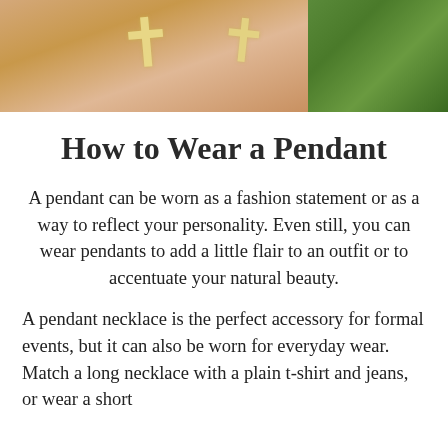[Figure (photo): Close-up photo of two crystal cross pendants held in hands, with green foliage in the background]
How to Wear a Pendant
A pendant can be worn as a fashion statement or as a way to reflect your personality. Even still, you can wear pendants to add a little flair to an outfit or to accentuate your natural beauty.
A pendant necklace is the perfect accessory for formal events, but it can also be worn for everyday wear. Match a long necklace with a plain t-shirt and jeans, or wear a short